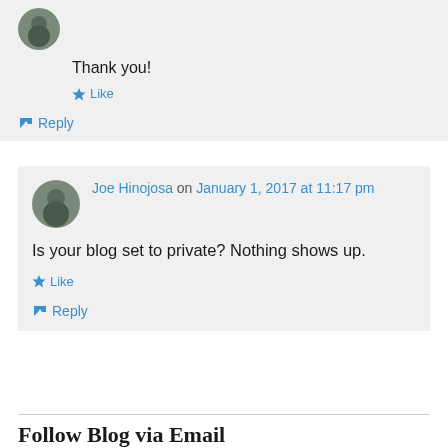Thank you!
★ Like
↪ Reply
Joe Hinojosa on January 1, 2017 at 11:17 pm
Is your blog set to private? Nothing shows up.
★ Like
↪ Reply
Follow Blog via Email